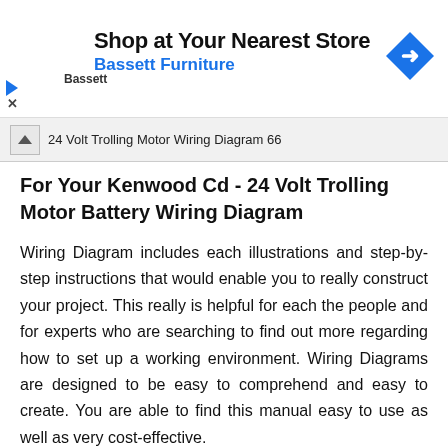[Figure (other): Advertisement banner: 'Shop at Your Nearest Store - Bassett Furniture' with Bassett logo and blue navigation arrow diamond icon]
For Your Kenwood Cd - 24 Volt Trolling Motor Battery Wiring Diagram
Wiring Diagram includes each illustrations and step-by-step instructions that would enable you to really construct your project. This really is helpful for each the people and for experts who are searching to find out more regarding how to set up a working environment. Wiring Diagrams are designed to be easy to comprehend and easy to create. You are able to find this manual easy to use as well as very cost-effective.